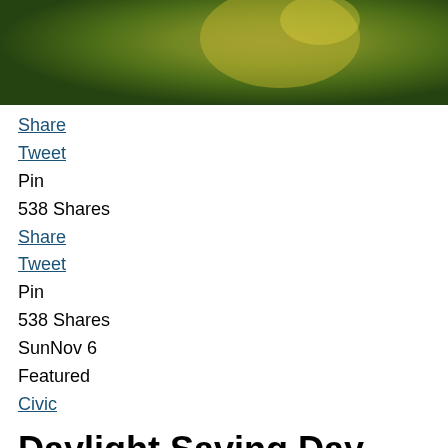[Figure (photo): Blurred nature photo with green and yellow tones, appears to show sunlight through foliage]
Share
Tweet
Pin
538 Shares
Share
Tweet
Pin
538 Shares
SunNov 6
Featured
Civic
Daylight Saving Day – November 6, 2022
U.S.
History
Timeline
FAQs
Importance
Celebrate